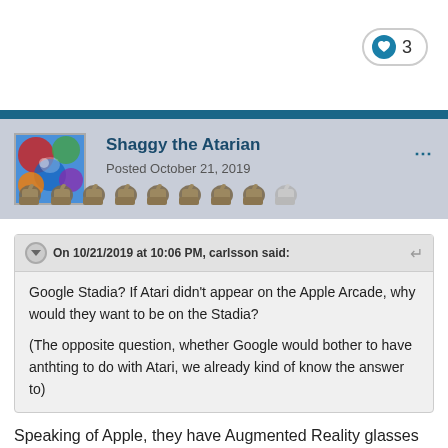[Figure (other): Like button with heart icon showing count of 3]
[Figure (photo): User avatar image with colorful abstract photo]
Shaggy the Atarian
Posted October 21, 2019
[Figure (other): Reputation thumbs up icons (8 colored, 1 grey)]
On 10/21/2019 at 10:06 PM, carlsson said:
Google Stadia? If Atari didn't appear on the Apple Arcade, why would they want to be on the Stadia?

(The opposite question, whether Google would bother to have anthting to do with Atari, we already kind of know the answer to)
Speaking of Apple, they have Augmented Reality glasses